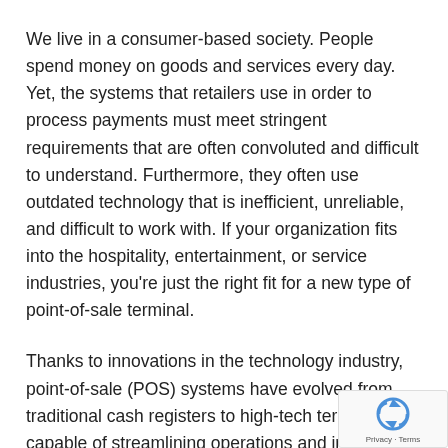We live in a consumer-based society. People spend money on goods and services every day. Yet, the systems that retailers use in order to process payments must meet stringent requirements that are often convoluted and difficult to understand. Furthermore, they often use outdated technology that is inefficient, unreliable, and difficult to work with. If your organization fits into the hospitality, entertainment, or service industries, you're just the right fit for a new type of point-of-sale terminal.
Thanks to innovations in the technology industry, point-of-sale (POS) systems have evolved from traditional cash registers to high-tech terminals capable of streamlining operations and improving accuracy. Firelands Computer Services' skilled technicians want to help you ensure the POS systems that your organization relies on to keep operations moving are secure and maintained.